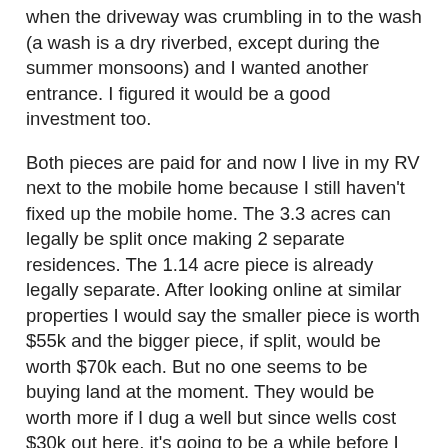when the driveway was crumbling in to the wash (a wash is a dry riverbed, except during the summer monsoons) and I wanted another entrance. I figured it would be a good investment too.
Both pieces are paid for and now I live in my RV next to the mobile home because I still haven't fixed up the mobile home. The 3.3 acres can legally be split once making 2 separate residences. The 1.14 acre piece is already legally separate. After looking online at similar properties I would say the smaller piece is worth $55k and the bigger piece, if split, would be worth $70k each. But no one seems to be buying land at the moment. They would be worth more if I dug a well but since wells cost $30k out here, it's going to be a while before I do that.
The drive to downtown takes between 25-35 minutes. I am within 2 miles of the paved suburbs and less than a mile from the paved road. We have good schools and a Walgreens. They promise us a grocery store any year now.
There are many things I could do with my land including building a house or two, putting a manufactured home on an